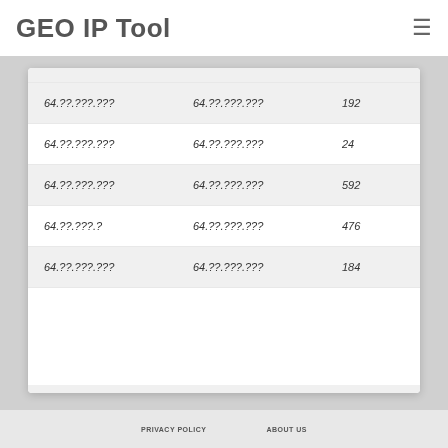GEO IP Tool
| 64.??.???.??? | 64.??.???.??? | 192 |
| 64.??.???.??? | 64.??.???.??? | 24 |
| 64.??.???.??? | 64.??.???.??? | 592 |
| 64.??.???.? | 64.??.???.??? | 476 |
| 64.??.???.??? | 64.??.???.??? | 184 |
PRIVACY POLICY   ABOUT US